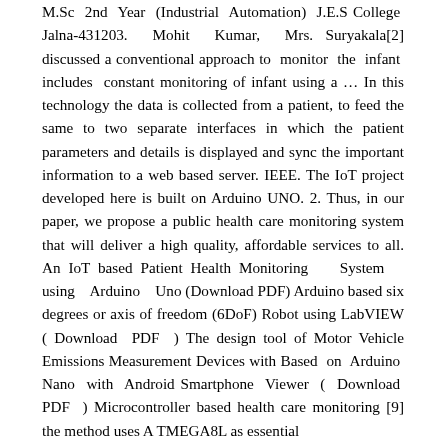M.Sc 2nd Year (Industrial Automation) J.E.S College Jalna-431203. Mohit Kumar, Mrs. Suryakala[2] discussed a conventional approach to monitor the infant includes constant monitoring of infant using a … In this technology the data is collected from a patient, to feed the same to two separate interfaces in which the patient parameters and details is displayed and sync the important information to a web based server. IEEE. The IoT project developed here is built on Arduino UNO. 2. Thus, in our paper, we propose a public health care monitoring system that will deliver a high quality, affordable services to all. An IoT based Patient Health Monitoring System using Arduino Uno (Download PDF) Arduino based six degrees or axis of freedom (6DoF) Robot using LabVIEW ( Download PDF ) The design tool of Motor Vehicle Emissions Measurement Devices with Based on Arduino Nano with Android Smartphone Viewer ( Download PDF ) Microcontroller based health care monitoring [9] the method uses A TMEGA8L as essential